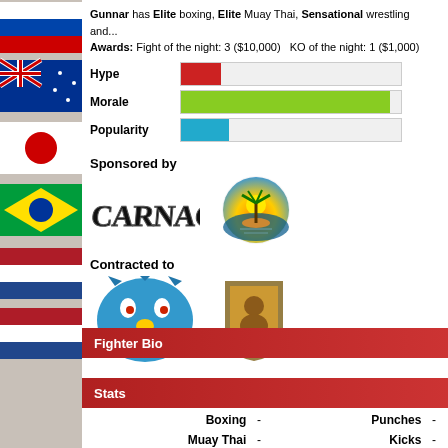[Figure (illustration): Left sidebar with country flags: Russia (red/white/blue horizontal), Australia (blue with Union Jack and stars), Japan (white with red circle), Brazil (green with yellow diamond), Netherlands (red/white/blue horizontal)]
Gunnar has Elite boxing, Elite Muay Thai, Sensational wrestling and... Awards: Fight of the night: 3 ($10,000)   KO of the night: 1 ($1,000)
[Figure (bar-chart): Three horizontal bars: Hype (red, ~18%), Morale (green, ~95%), Popularity (blue, ~22%). Labels Ene, Ra, Inju partially visible on right.]
Sponsored by
[Figure (logo): Carnage logo - graffiti style text]
[Figure (logo): Tropical sunset logo - palm tree on island with orange/yellow sunset]
Contracted to
[Figure (logo): Monster/demon face logo - blue angry cartoon face with yellow nose and teeth]
[Figure (logo): Trophy/shield logo partially visible on right edge]
Fighter Bio
Stats
Boxing  -
Muay Thai  -
Wrestling  -
BJJ  -
Punches  -
Kicks  -
Elbows  -
Knees  -
Clinchwork  -